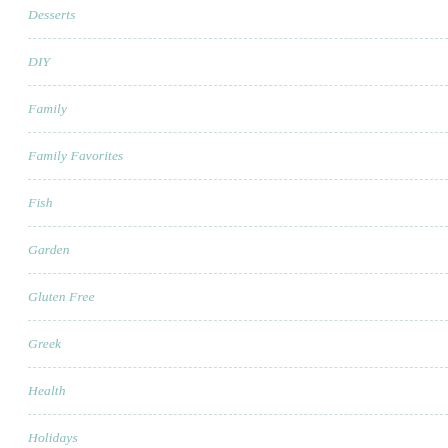Desserts
DIY
Family
Family Favorites
Fish
Garden
Gluten Free
Greek
Health
Holidays